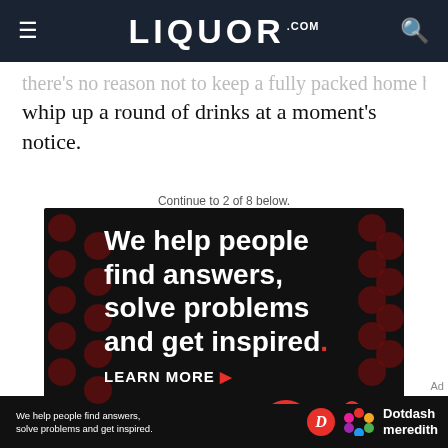LIQUOR.COM
...there's no reason not to keep a fully packed home bar so you can whip up a round of drinks at a moment's notice.
Continue to 2 of 8 below.
Advertisement
[Figure (other): Advertisement for Dotdash Meredith: black background with dark red polka dots pattern. White bold text reads 'We help people find answers, solve problems and get inspired.' with a red period. 'LEARN MORE' with red arrow. Dotdash D logo in red circle and colorful Dotdash Meredith flower logo.]
We help people find answers, solve problems and get inspired.
Dotdash meredith